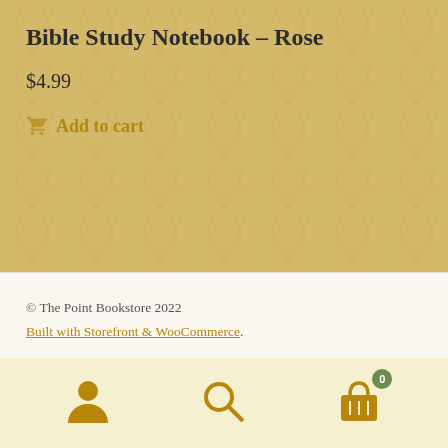Bible Study Notebook – Rose
$4.99
Add to cart
© The Point Bookstore 2022
Built with Storefront & WooCommerce.